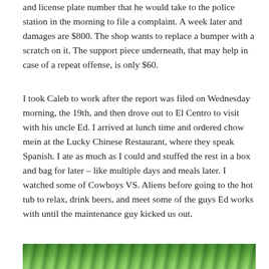and license plate number that he would take to the police station in the morning to file a complaint. A week later and damages are $800. The shop wants to replace a bumper with a scratch on it. The support piece underneath, that may help in case of a repeat offense, is only $60.
I took Caleb to work after the report was filed on Wednesday morning, the 19th, and then drove out to El Centro to visit with his uncle Ed. I arrived at lunch time and ordered chow mein at the Lucky Chinese Restaurant, where they speak Spanish. I ate as much as I could and stuffed the rest in a box and bag for later – like multiple days and meals later. I watched some of Cowboys VS. Aliens before going to the hot tub to relax, drink beers, and meet some of the guys Ed works with until the maintenance guy kicked us out.
[Figure (photo): Partial view of outdoor scene with green foliage/palm trees visible at the bottom of the page]